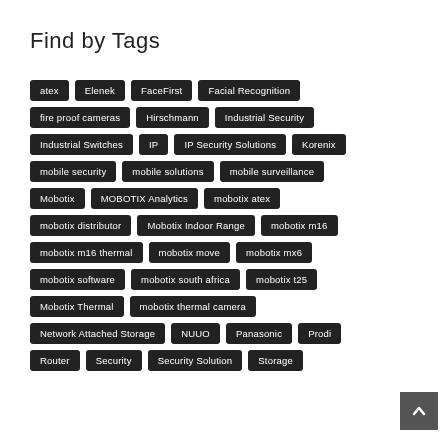Find by Tags
atex
Elenek
FaceFirst
Facial Recognition
fire proof cameras
Hirschmann
Industrial Security
Industrial Switches
IP
IP Security Solutions
Korenix
mobile security
mobile solutions
mobile surveillance
Mobotix
MOBOTIX Analytics
mobotix atex
mobotix distributor
Mobotix Indoor Range
mobotix m16
mobotix m16 thermal
mobotix move
mobotix mx6
mobotix software
mobotix south africa
mobotix t25
Mobotix Thermal
mobotix thermal camera
Network Attached Storage
NUUO
Panasonic
Prodi
Router
Security
Security Solution
Storage